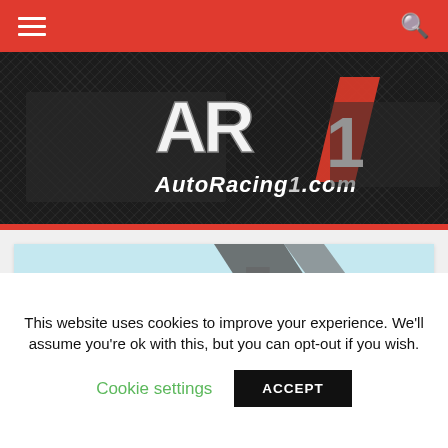AutoRacing1.com navigation bar
[Figure (logo): AutoRacing1.com logo banner with AR1 logo in silver/red on dark carbon fiber background with racing cars on either side]
[Figure (photo): Partial view of a racing car livery in light blue/cyan and grey with 'jardian' text visible on the bodywork]
This website uses cookies to improve your experience. We'll assume you're ok with this, but you can opt-out if you wish.
Cookie settings   ACCEPT